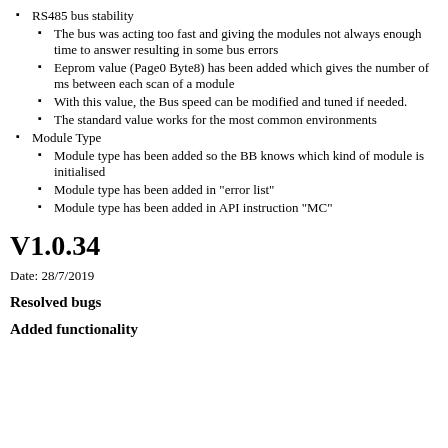RS485 bus stability
The bus was acting too fast and giving the modules not always enough time to answer resulting in some bus errors
Eeprom value (Page0 Byte8) has been added which gives the number of ms between each scan of a module
With this value, the Bus speed can be modified and tuned if needed.
The standard value works for the most common environments
Module Type
Module type has been added so the BB knows which kind of module is initialised
Module type has been added in "error list"
Module type has been added in API instruction "MC"
V1.0.34
Date: 28/7/2019
Resolved bugs
Added functionality